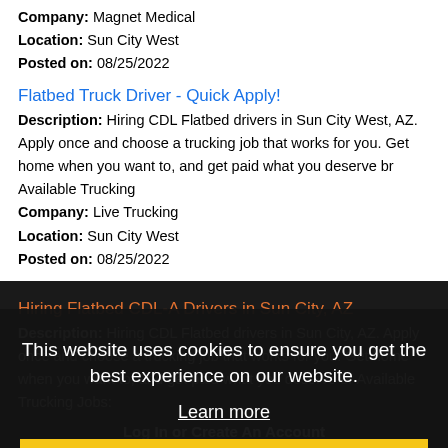Company: Magnet Medical
Location: Sun City West
Posted on: 08/25/2022
Flatbed Truck Driver - Quick Apply!
Description: Hiring CDL Flatbed drivers in Sun City West, AZ. Apply once and choose a trucking job that works for you. Get home when you want to, and get paid what you deserve br Available Trucking
Company: Live Trucking
Location: Sun City West
Posted on: 08/25/2022
Hiring Flatbed CDL-A Drivers in Sun City, AZ
Description: Hiring CDL Flatbed drivers in Sun City, AZ. Apply once and choose a trucking job that works for you. Get home when you want to, and get paid what you deserve br Available Trucking Jobs:
Company: Live Trucking
Location: Sun City
Posted on: 08/25/2022
Loading more jobs...
This website uses cookies to ensure you get the best experience on our website.
Learn more
Got it!
Log In or Create An Account